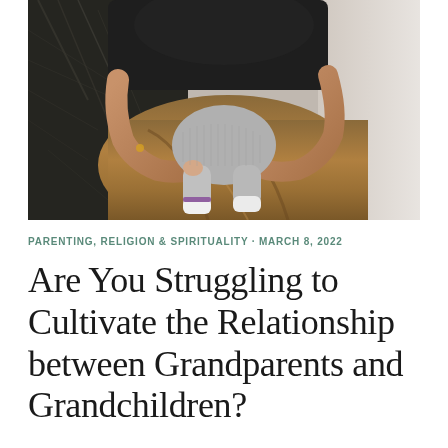[Figure (photo): An elderly person holding a small baby/toddler on their lap. The grandparent's weathered hands are visible cradling the child. Dark clothing on top, brown trousers visible. The child wears a grey knit outfit with white socks and purple ankle cuff. Background shows netting/ropes on the left and a white surface on the right.]
PARENTING, RELIGION & SPIRITUALITY · MARCH 8, 2022
Are You Struggling to Cultivate the Relationship between Grandparents and Grandchildren?